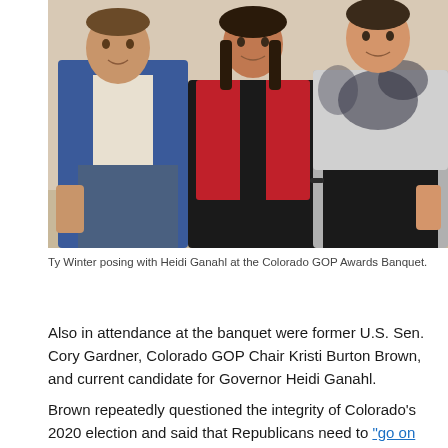[Figure (photo): Three people posing together at an event. On the left, a man in a blue blazer and jeans. In the center, a woman in a red vest over a black outfit. On the right, a woman in a grey and black patterned top.]
Ty Winter posing with Heidi Ganahl at the Colorado GOP Awards Banquet.
Also in attendance at the banquet were former U.S. Sen. Cory Gardner, Colorado GOP Chair Kristi Burton Brown, and current candidate for Governor Heidi Ganahl.
Brown repeatedly questioned the integrity of Colorado's 2020 election and said that Republicans need to "go on